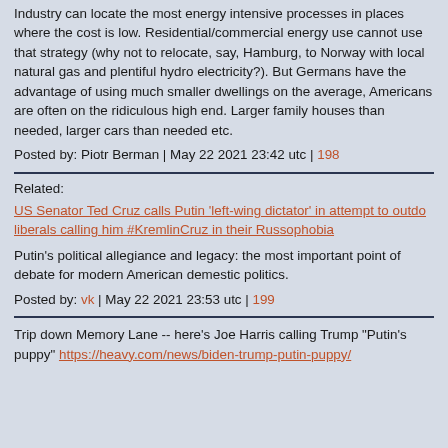Industry can locate the most energy intensive processes in places where the cost is low. Residential/commercial energy use cannot use that strategy (why not to relocate, say, Hamburg, to Norway with local natural gas and plentiful hydro electricity?). But Germans have the advantage of using much smaller dwellings on the average, Americans are often on the ridiculous high end. Larger family houses than needed, larger cars than needed etc.
Posted by: Piotr Berman | May 22 2021 23:42 utc | 198
Related:
US Senator Ted Cruz calls Putin ‘left-wing dictator’ in attempt to outdo liberals calling him #KremlinCruz in their Russophobia
Putin’s political allegiance and legacy: the most important point of debate for modern American demestic politics.
Posted by: vk | May 22 2021 23:53 utc | 199
Trip down Memory Lane -- here's Joe Harris calling Trump "Putin's puppy" https://heavy.com/news/biden-trump-putin-puppy/